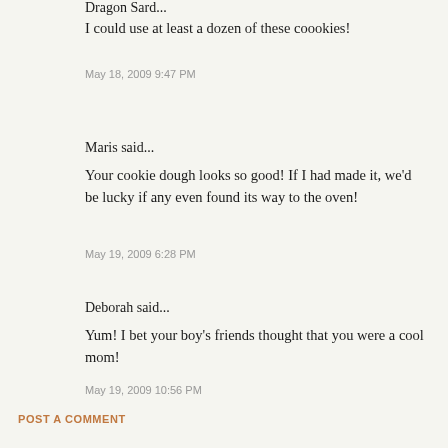Dragon Sard...
I could use at least a dozen of these coookies!
May 18, 2009 9:47 PM
Maris said...
Your cookie dough looks so good! If I had made it, we'd be lucky if any even found its way to the oven!
May 19, 2009 6:28 PM
Deborah said...
Yum! I bet your boy's friends thought that you were a cool mom!
May 19, 2009 10:56 PM
POST A COMMENT